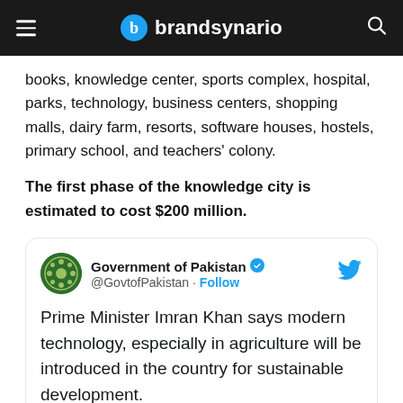brandsynario
books, knowledge center, sports complex, hospital, parks, technology, business centers, shopping malls, dairy farm, resorts, software houses, hostels, primary school, and teachers' colony.
The first phase of the knowledge city is estimated to cost $200 million.
[Figure (screenshot): Embedded tweet from @GovtofPakistan (Government of Pakistan verified account) reading: Prime Minister Imran Khan says modern technology, especially in agriculture will be introduced in the country for sustainable development.]
[Figure (photo): Partial photo visible at the bottom of the page, appears to be a news-related image in greyscale.]